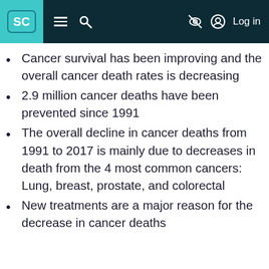SC | ≡ 🔍 | Log in
Cancer survival has been improving and the overall cancer death rates is decreasing
2.9 million cancer deaths have been prevented since 1991
The overall decline in cancer deaths from 1991 to 2017 is mainly due to decreases in death from the 4 most common cancers: Lung, breast, prostate, and colorectal
New treatments are a major reason for the decrease in cancer deaths